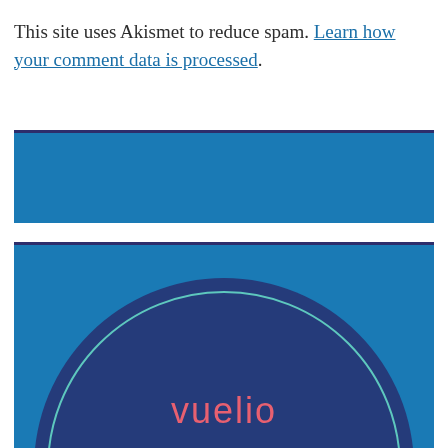This site uses Akismet to reduce spam. Learn how your comment data is processed.
[Figure (illustration): A solid blue horizontal banner with a dark navy top border]
[Figure (logo): Blue banner with dark navy top border containing a dark blue circle with a teal inner ring outline and the Vuelio logo in pink/salmon text at the center]